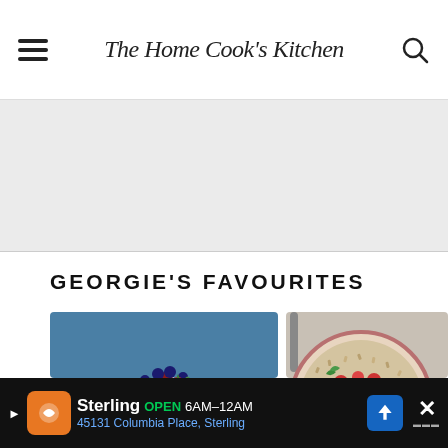The Home Cook's Kitchen
[Figure (photo): Grey advertisement placeholder banner]
GEORGIE'S FAVOURITES
[Figure (photo): Pavlova cake topped with berries on a wooden board with blue background]
[Figure (photo): Bowl of grain salad with tomatoes, red onion, feta, lemon and herbs with heart/share social buttons overlay]
[Figure (photo): Sterling business advertisement banner showing OPEN 6AM-12AM, 45131 Columbia Place, Sterling]